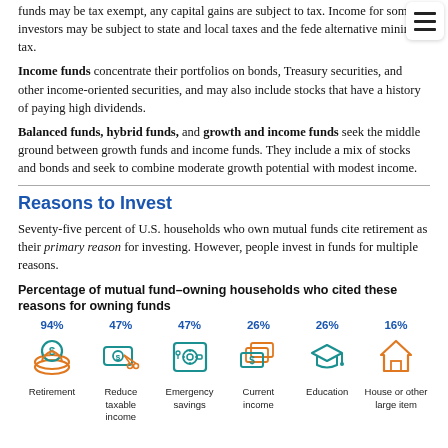funds may be tax exempt, any capital gains are subject to tax. Income for some investors may be subject to state and local taxes and the federal alternative minimum tax.
Income funds concentrate their portfolios on bonds, Treasury securities, and other income-oriented securities, and may also include stocks that have a history of paying high dividends.
Balanced funds, hybrid funds, and growth and income funds seek the middle ground between growth funds and income funds. They include a mix of stocks and bonds and seek to combine moderate growth potential with modest income.
Reasons to Invest
Seventy-five percent of U.S. households who own mutual funds cite retirement as their primary reason for investing. However, people invest in funds for multiple reasons.
Percentage of mutual fund–owning households who cited these reasons for owning funds
[Figure (infographic): Six icons with percentages: Retirement 94%, Reduce taxable income 47%, Emergency savings 47%, Current income 26%, Education 26%, House or other large item 16%]